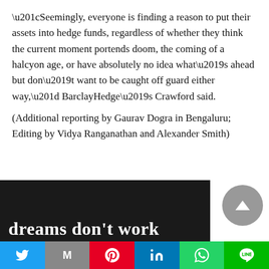“Seemingly, everyone is finding a reason to put their assets into hedge funds, regardless of whether they think the current moment portends doom, the coming of a halcyon age, or have absolutely no idea what’s ahead but don’t want to be caught off guard either way,” BarclayHedge’s Crawford said.
(Additional reporting by Gaurav Dogra in Bengaluru; Editing by Vidya Ranganathan and Alexander Smith)
[Figure (photo): Dark background image section with partial white bold text reading 'dreams don't work' and a grey circular scroll-to-top button on the right]
[Figure (other): Social share bar with Twitter, Mail (M), Pinterest, LinkedIn, WhatsApp, and LINE buttons]